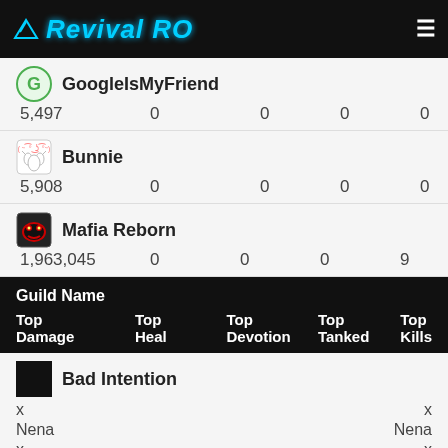RevivalRO
GoogleIsMyFriend
5,497  0  0  0  0
Bunnie
5,908  0  0  0  0
Mafia Reborn
1,963,045  0  0  0  9
| Guild Name | Top Damage | Top Heal | Top Devotion | Top Tanked | Top Kills |
| --- | --- | --- | --- | --- | --- |
| Bad Intention | x
Nena
x |  |  |  | x
Nena
x |
| AdiktusRoyale Guild | R sinx |  |  |  |  |